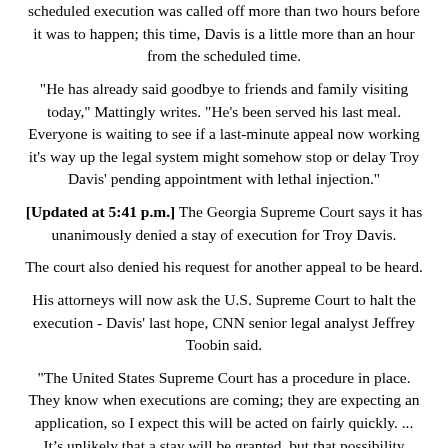scheduled execution was called off more than two hours before it was to happen; this time, Davis is a little more than an hour from the scheduled time.
"He has already said goodbye to friends and family visiting today," Mattingly writes. "He's been served his last meal. Everyone is waiting to see if a last-minute appeal now working it's way up the legal system might somehow stop or delay Troy Davis' pending appointment with lethal injection."
[Updated at 5:41 p.m.] The Georgia Supreme Court says it has unanimously denied a stay of execution for Troy Davis.
The court also denied his request for another appeal to be heard.
His attorneys will now ask the U.S. Supreme Court to halt the execution - Davis' last hope, CNN senior legal analyst Jeffrey Toobin said.
"The United States Supreme Court has a procedure in place. They know when executions are coming; they are expecting an application, so I expect this will be acted on fairly quickly. ... It’s unlikely that a stay will be granted, but that possibility exists, and that’s Troy Davis’ only hope," Toobin said.
[Updated at 4:33 p.m.] With one eye on the clock, celebrity